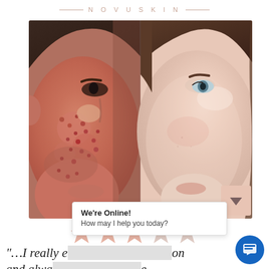NOVUSKIN
[Figure (photo): Before-and-after comparison of skin condition. Left panel shows close-up of cheek with severe acne, redness, and scarring. Right panel shows the same or similar person's cheek with significantly cleared skin, smooth texture, minimal blemishes.]
[Figure (infographic): Five pink/rose star rating icons indicating a 5-star review]
"…I really e…on and alwa…e my treatments. The results
We're Online! How may I help you today?